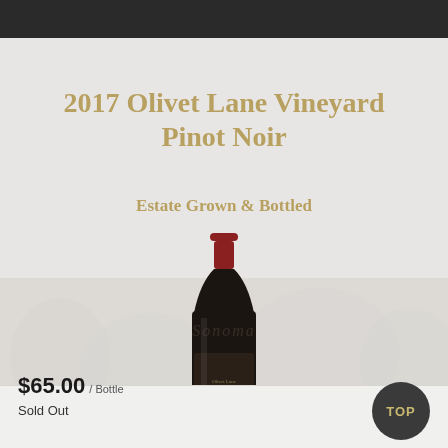2017 Olivet Lane Vineyard Pinot Noir
Estate Grown & Bottled
[Figure (photo): A dark wine bottle (Pinot Noir) standing upright with a deep red/burgundy capsule at the top, dark label body, centered on light gray background]
$65.00 / Bottle
Sold Out